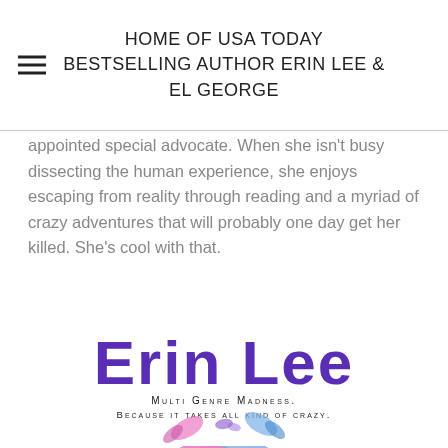HOME OF USA TODAY BESTSELLING AUTHOR ERIN LEE & EL GEORGE
appointed special advocate. When she isn’t busy dissecting the human experience, she enjoys escaping from reality through reading and a myriad of crazy adventures that will probably one day get her killed. She’s cool with that.
[Figure (logo): Erin Lee author logo: large purple handwritten-style text reading 'Erin Lee' with taglines 'Multi Genre Madness. Because it takes all kind of crazy.' and a colorful skull with butterflies illustration in pink and blue tones below.]